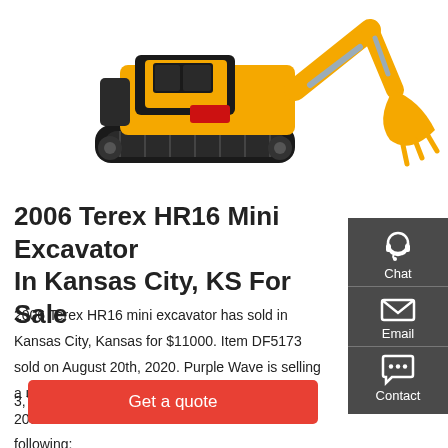[Figure (photo): Yellow and black mini excavator (2006 Terex HR16) shown from the side with bucket arm extended, on white background, cropped at top]
2006 Terex HR16 Mini Excavator In Kansas City, KS For Sale
2006 Terex HR16 mini excavator has sold in Kansas City, Kansas for $11000. Item DF5173 sold on August 20th, 2020. Purple Wave is selling a used Mini Excavator in Kansas. This item is a 2006 Terex HR16 mini excavator with the following:
3,703 hours on meter, Serial: 3584668
Get a quote